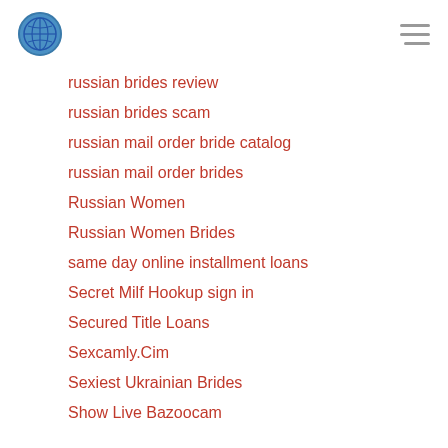[logo] [hamburger menu]
russian brides review
russian brides scam
russian mail order bride catalog
russian mail order brides
Russian Women
Russian Women Brides
same day online installment loans
Secret Milf Hookup sign in
Secured Title Loans
Sexcamly.Cim
Sexiest Ukrainian Brides
Show Live Bazoocam